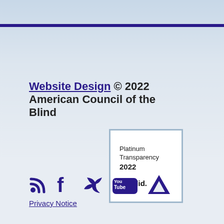Website Design © 2022 American Council of the Blind
[Figure (logo): Platinum Transparency 2022 Candid. badge — white box with light blue border]
[Figure (infographic): Social media icons: RSS feed, Facebook, Twitter, YouTube, Accessibility icon — all in dark purple/indigo color]
Privacy Notice